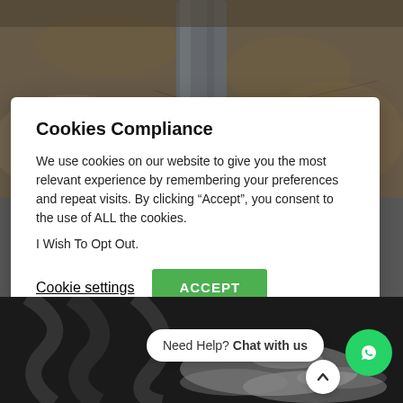[Figure (photo): Top portion: close-up photo of a metal pole or auger drill bit on stone/rock ground surface]
Cookies Compliance
We use cookies on our website to give you the most relevant experience by remembering your preferences and repeat visits. By clicking “Accept”, you consent to the use of ALL the cookies.
I Wish To Opt Out.
Cookie settings   ACCEPT
[Figure (photo): Bottom portion: photo of dark auger/drill equipment with grey concrete or ash residue]
Need Help? Chat with us